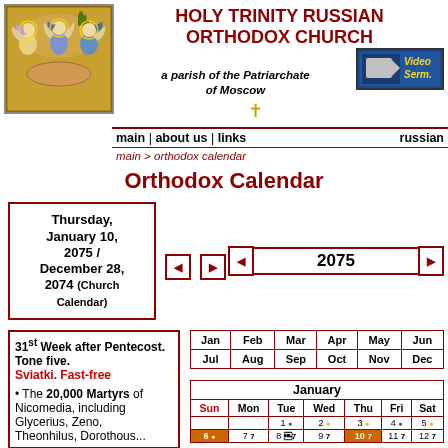[Figure (illustration): Russian Orthodox icon of the Holy Trinity (three angels at a table), golden tones]
HOLY TRINITY RUSSIAN ORTHODOX CHURCH
a parish of the Patriarchate of Moscow
[Figure (logo): Video Sermons button with dark blue background and gold text]
main | about us | links    russian
main > orthodox calendar
Orthodox Calendar
Thursday, January 10, 2075 / December 28, 2074 (Church Calendar)
2075
31st Week after Pentecost. Tone five. Sviatki. Fast-free
The 20,000 Martyrs of Nicomedia, including Glycerius, Zeno, Theonhilus, Dorothous...
| Jan | Feb | Mar | Apr | May | Jun |
| --- | --- | --- | --- | --- | --- |
| Jul | Aug | Sep | Oct | Nov | Dec |
| Sun | Mon | Tue | Wed | Thu | Fri | Sat |
| --- | --- | --- | --- | --- | --- | --- |
|  |  | 1 | 2 | 3 | 4 | 5 |
| 6 | 7 | 8 | 9 | 10 | 11 | 12 |